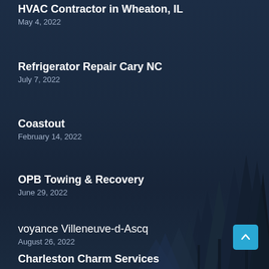HVAC Contractor in Wheaton, IL
May 4, 2022
Refrigerator Repair Cary NC
July 7, 2022
Coastout
February 14, 2022
OPB Towing & Recovery
June 29, 2022
voyance Villeneuve-d-Ascq
August 26, 2022
Charleston Charm Services
May 13, 2022